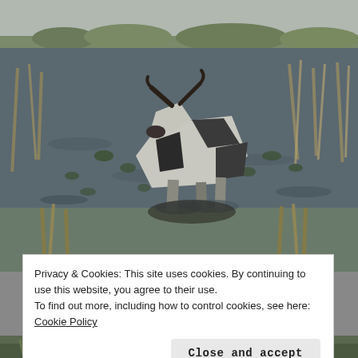[Figure (photo): A sculptural cow made from what appears to be recycled or angular geometric materials (white and dark panels), standing in a shallow wetland or marshy pond with lily pads and reeds. The background shows a flat landscape with dry grasses and trees under an overcast sky.]
Privacy & Cookies: This site uses cookies. By continuing to use this website, you agree to their use.
To find out more, including how to control cookies, see here: Cookie Policy
Close and accept
[Figure (photo): Partial view of a second photo showing green grass/reeds at the bottom of the page.]